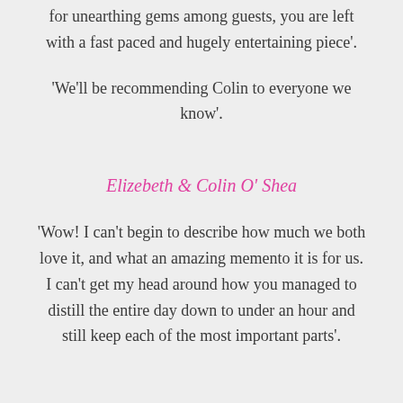for unearthing gems among guests, you are left with a fast paced and hugely entertaining piece'.
'We'll be recommending Colin to everyone we know'.
Elizebeth & Colin O' Shea
'Wow! I can't begin to describe how much we both love it, and what an amazing memento it is for us. I can't get my head around how you managed to distill the entire day down to under an hour and still keep each of the most important parts'.